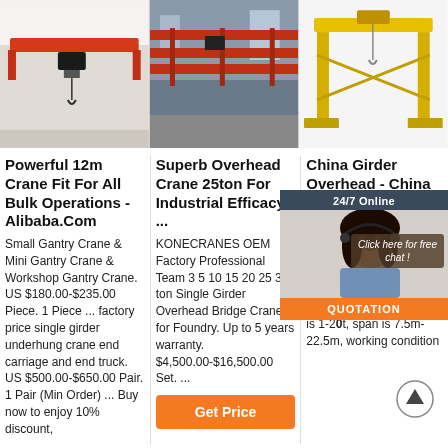[Figure (photo): Red overhead single-girder crane in a white industrial space]
[Figure (photo): Large red overhead bridge cranes in an industrial factory hall]
[Figure (photo): Yellow gantry crane structure against white background]
Powerful 12m Crane Fit For All Bulk Operations - Alibaba.Com
Small Gantry Crane & Mini Gantry Crane & Workshop Gantry Crane. US $180.00-$235.00 Piece. 1 Piece ... factory price single girder underhung crane end carriage and end truck. US $500.00-$650.00 Pair. 1 Pair (Min Order) ... Buy now to enjoy 10% discount,
Superb Overhead Crane 25ton For Industrial Efficacy ...
KONECRANES OEM Factory Professional Team 3 5 10 15 20 25 30 ton Single Girder Overhead Bridge Crane for Foundry. Up to 5 years warranty. $4,500.00-$16,500.00 Set. ...
China Girder Overhead - China
LD-A type single-beam overhead crane, monorail crane with MD1 electric hoist. It can be used in machine manufaturing, assemble and install and storehouse. The capacity is 1-20t, span is 7.5m-22.5m, working condition
[Figure (screenshot): Live chat widget with 24/7 Online header, photo of woman with headset, Click here for free chat bubble, and QUOTATION orange button]